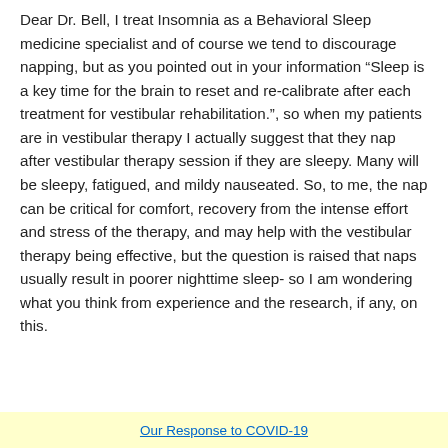Dear Dr. Bell, I treat Insomnia as a Behavioral Sleep medicine specialist and of course we tend to discourage napping, but as you pointed out in your information “Sleep is a key time for the brain to reset and re-calibrate after each treatment for vestibular rehabilitation.”, so when my patients are in vestibular therapy I actually suggest that they nap after vestibular therapy session if they are sleepy. Many will be sleepy, fatigued, and mildy nauseated. So, to me, the nap can be critical for comfort, recovery from the intense effort and stress of the therapy, and may help with the vestibular therapy being effective, but the question is raised that naps usually result in poorer nighttime sleep- so I am wondering what you think from experience and the research, if any, on this.
Our Response to COVID-19